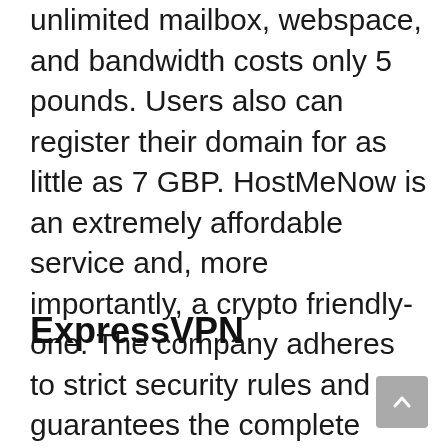unlimited mailbox, webspace, and bandwidth costs only 5 pounds. Users also can register their domain for as little as 7 GBP. HostMeNow is an extremely affordable service and, more importantly, a crypto friendly-one. The company adheres to strict security rules and guarantees the complete integrity of its client's data. HostMeNow is one of the sites that accept Bitcoin, but additionally, it also features Ethereum, Litecoin, and Monero payments.
ExpressVPN